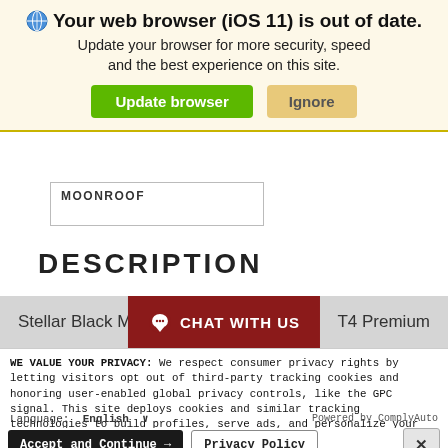[Figure (screenshot): Browser update notification banner with globe icon, bold title 'Your web browser (iOS 11) is out of date.', subtitle text, and two buttons: 'Update browser' (green) and 'Ignore' (tan/yellow)]
MOONROOF
DESCRIPTION
[Figure (screenshot): Gray bar showing 'Stellar Black M...' and 'T4 Premium' text with a dark red 'CHAT WITH US' button overlay in center]
WE VALUE YOUR PRIVACY: We respect consumer privacy rights by letting visitors opt out of third-party tracking cookies and honoring user-enabled global privacy controls, like the GPC signal. This site deploys cookies and similar tracking technologies to build profiles, serve ads, and personalize your experience across websites. By pressing accept, you consent to the use of such cookies. To manage your privacy rights or view the categories of personal information we collect and the purposes for which the information is used, click here.
Language:  English  ∨  Powered by ComplyAuto
Accept and Continue →   Privacy Policy   ×